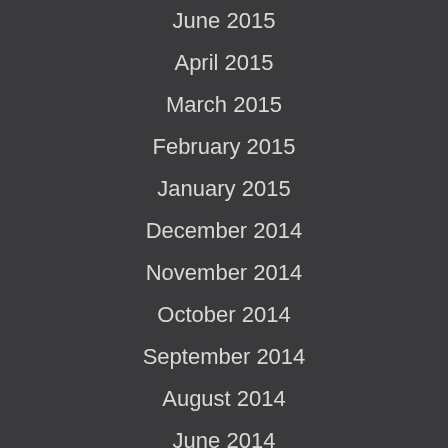June 2015
April 2015
March 2015
February 2015
January 2015
December 2014
November 2014
October 2014
September 2014
August 2014
June 2014
May 2014
April 2014